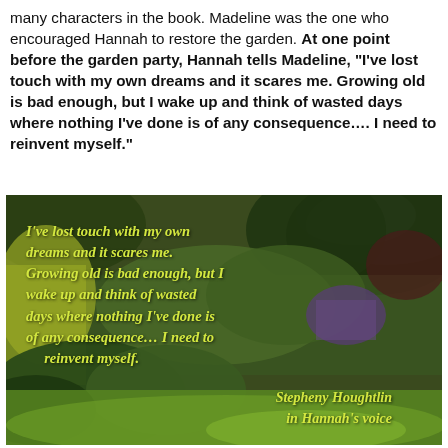many characters in the book. Madeline was the one who encouraged Hannah to restore the garden. At one point before the garden party, Hannah tells Madeline, "I've lost touch with my own dreams and it scares me. Growing old is bad enough, but I wake up and think of wasted days where nothing I've done is of any consequence.... I need to reinvent myself."
[Figure (photo): A lush green garden scene with trees, shrubs, purple flowers, large-leafed hostas, and a lawn. Overlaid with an italic yellow-green quote: "I've lost touch with my own dreams and it scares me. Growing old is bad enough, but I wake up and think of wasted days where nothing I've done is of any consequence.... I need to reinvent myself." Attribution: Stepheny Houghtlin in Hannah's voice]